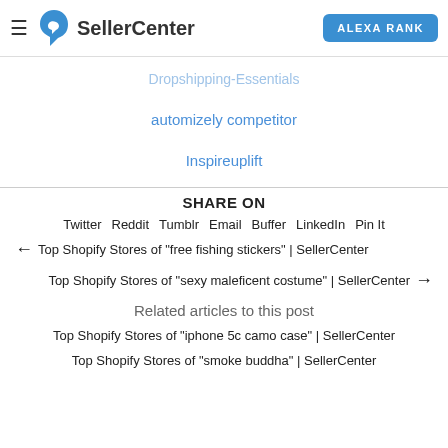SellerCenter | ALEXA RANK
Dropshipping-Essentials
automizely competitor
Inspireuplift
SHARE ON
Twitter  Reddit  Tumblr  Email  Buffer  LinkedIn  Pin It
← Top Shopify Stores of "free fishing stickers" | SellerCenter
Top Shopify Stores of "sexy maleficent costume" | SellerCenter →
Related articles to this post
Top Shopify Stores of "iphone 5c camo case" | SellerCenter
Top Shopify Stores of "smoke buddha" | SellerCenter